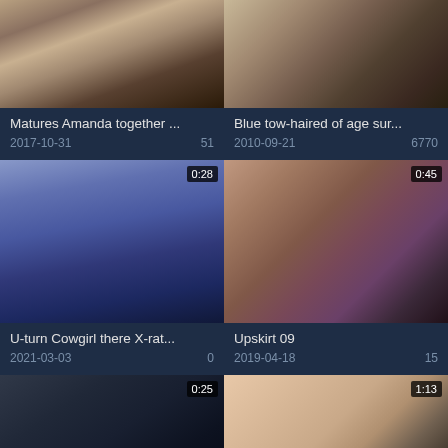[Figure (screenshot): Video grid thumbnail 1 - partial legs/feet visible, top row left]
[Figure (screenshot): Video grid thumbnail 2 - person standing, top row right]
Matures Amanda together ...
2017-10-31   51
Blue tow-haired of age sur...
2010-09-21   6770
[Figure (screenshot): Video grid thumbnail 3 - close up dark fabric with duration badge 0:28]
[Figure (screenshot): Video grid thumbnail 4 - colorful fabric/material, duration badge 0:45]
U-turn Cowgirl there X-rat...
2021-03-03   0
Upskirt 09
2019-04-18   15
[Figure (screenshot): Video grid thumbnail 5 - dark clothing close up, duration badge 0:25]
[Figure (screenshot): Video grid thumbnail 6 - skin tone close up, duration badge 1:13]